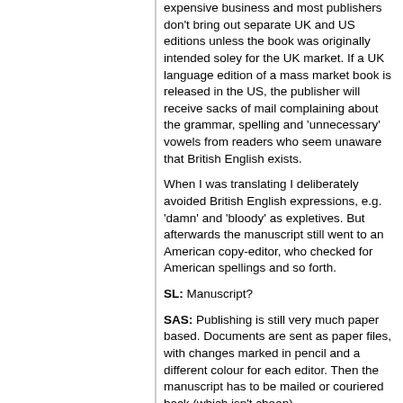expensive business and most publishers don't bring out separate UK and US editions unless the book was originally intended soley for the UK market. If a UK language edition of a mass market book is released in the US, the publisher will receive sacks of mail complaining about the grammar, spelling and 'unnecessary' vowels from readers who seem unaware that British English exists.
When I was translating I deliberately avoided British English expressions, e.g. 'damn' and 'bloody' as expletives. But afterwards the manuscript still went to an American copy-editor, who checked for American spellings and so forth.
SL: Manuscript?
SAS: Publishing is still very much paper based. Documents are sent as paper files, with changes marked in pencil and a different colour for each editor. Then the manuscript has to be mailed or couriered back (which isn't cheap).